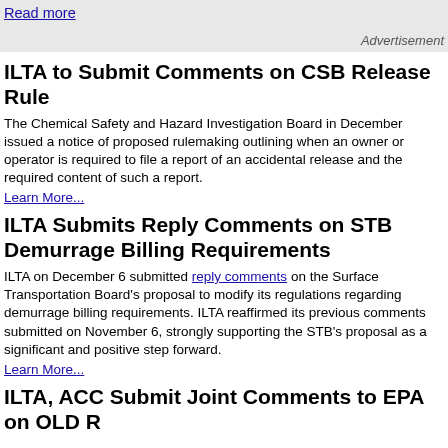Read more
Advertisement
ILTA to Submit Comments on CSB Release Rule
The Chemical Safety and Hazard Investigation Board in December issued a notice of proposed rulemaking outlining when an owner or operator is required to file a report of an accidental release and the required content of such a report.
Learn More...
ILTA Submits Reply Comments on STB Demurrage Billing Requirements
ILTA on December 6 submitted reply comments on the Surface Transportation Board's proposal to modify its regulations regarding demurrage billing requirements. ILTA reaffirmed its previous comments submitted on November 6, strongly supporting the STB's proposal as a significant and positive step forward.
Learn More...
ILTA, ACC Submit Joint Comments to EPA on OLD R